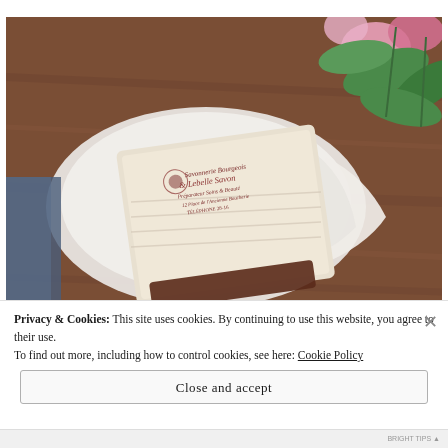[Figure (photo): A decorative rubber stamp with ornate text/logo resting on a white plate with ribbon, surrounded by pink flowers and green leaves on a wooden table background.]
Privacy & Cookies: This site uses cookies. By continuing to use this website, you agree to their use.
To find out more, including how to control cookies, see here: Cookie Policy
Close and accept